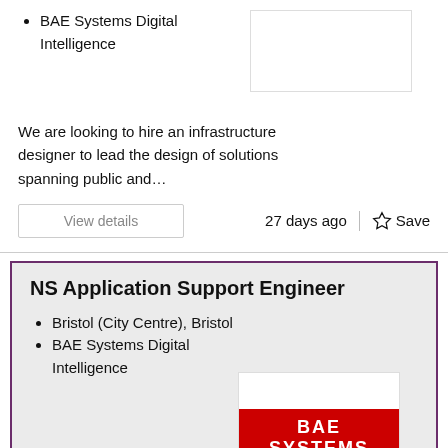BAE Systems Digital Intelligence
We are looking to hire an infrastructure designer to lead the design of solutions spanning public and…
View details   27 days ago   Save
NS Application Support Engineer
Bristol (City Centre), Bristol
BAE Systems Digital Intelligence
[Figure (logo): BAE SYSTEMS logo in white text on red background]
This role is part of our National Security business,…
View details   28 days ago   Save